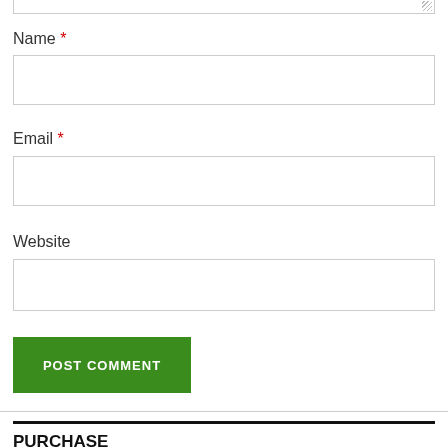Name *
Email *
Website
POST COMMENT
PURCHASE